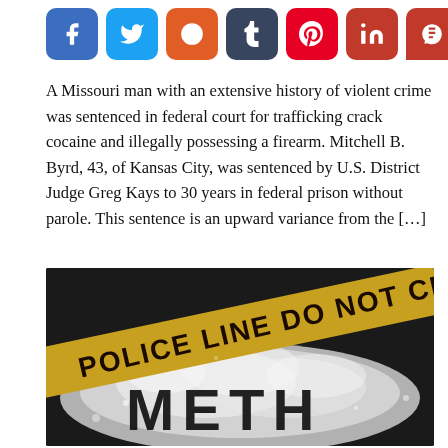[Figure (other): Social media share buttons: Facebook, Twitter, Reddit, Tumblr, Pinterest, LinkedIn, Parler, WhatsApp]
A Missouri man with an extensive history of violent crime was sentenced in federal court for trafficking crack cocaine and illegally possessing a firearm. Mitchell B. Byrd, 43, of Kansas City, was sentenced by U.S. District Judge Greg Kays to 30 years in federal prison without parole. This sentence is an upward variance from the […]
[Figure (photo): Crime scene photo showing a police line do not cross tape over a pile of white powder with the word METH overlaid in large block letters on a dark background]